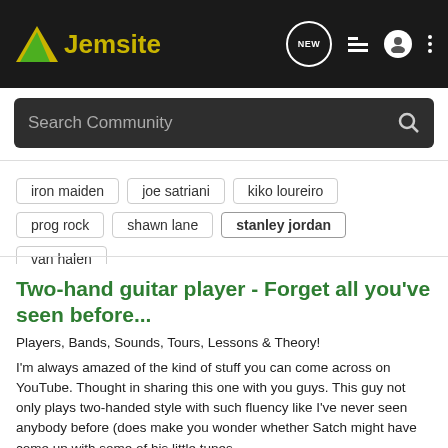Jemsite
iron maiden
joe satriani
kiko loureiro
prog rock
shawn lane
stanley jordan
van halen
Two-hand guitar player - Forget all you've seen before...
Players, Bands, Sounds, Tours, Lessons & Theory!
I'm always amazed of the kind of stuff you can come across on YouTube. Thought in sharing this one with you guys. This guy not only plays two-handed style with such fluency like I've never seen anybody before (does make you wonder whether Satch might have come up with some of his little tunes...
19   3K